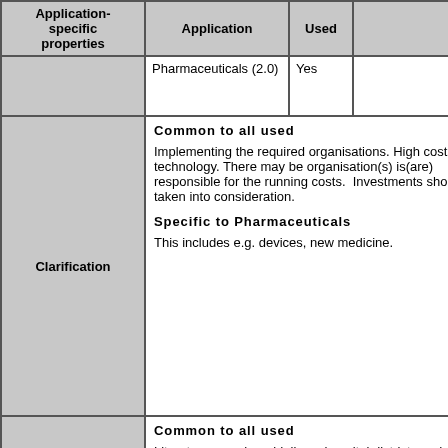| Application-specific properties | Application | Used |  |
| --- | --- | --- | --- |
|  | Pharmaceuticals (2.0) | Yes |  |
| Clarification | Common to all used

Implementing the required organisations. High costs of new technology. There may be organisation(s) is(are) responsible for the running costs. Investments should be taken into consideration.

Specific to Pharmaceuticals

This includes e.g. devices, new medicine. |  |  |
| Methodology and sources | Common to all used

Literature search, guidelines, hospital districts and manufacturers study: questionnaires and screening process (monitoring laboratory |  |  |
| References | Common to all used |  |  |